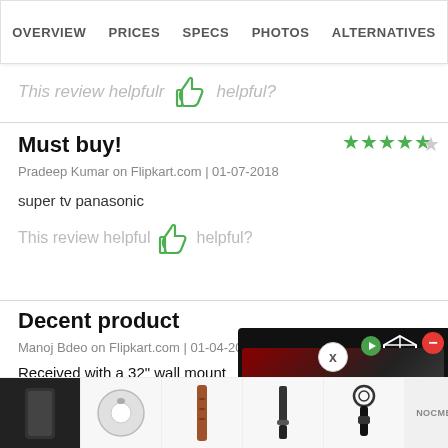OVERVIEW  PRICES  SPECS  PHOTOS  ALTERNATIVES
This review helpful  [thumbs up]  helpful?
Must buy!
Pradeep Kumar on Flipkart.com | 01-07-2018
super tv panasonic
This review helpful  [thumbs up]  helpful?
Decent product
Manoj Bdeo on Flipkart.com | 01-04-2018
Received with a 32" wall mount and had a very... on dealing with supplier and Panasonic guys for exchange. Eventua... ld they will com... ng so
[Figure (screenshot): Advertisement overlay showing a product box (HORI) with price ₹1,33,689.99, with a red close button and 3D cube icon]
[Figure (screenshot): Bottom carousel showing product thumbnail images including a phone case, robot vacuum, leather strap, bag clip, and keychain]